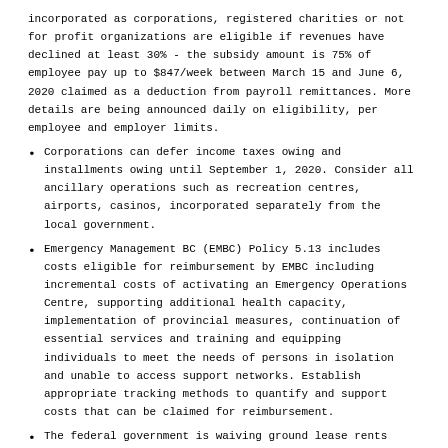incorporated as corporations, registered charities or not for profit organizations are eligible if revenues have declined at least 30% - the subsidy amount is 75% of employee pay up to $847/week between March 15 and June 6, 2020 claimed as a deduction from payroll remittances. More details are being announced daily on eligibility, per employee and employer limits.
Corporations can defer income taxes owing and installments owing until September 1, 2020. Consider all ancillary operations such as recreation centres, airports, casinos, incorporated separately from the local government.
Emergency Management BC (EMBC) Policy 5.13 includes costs eligible for reimbursement by EMBC including incremental costs of activating an Emergency Operations Centre, supporting additional health capacity, implementation of provincial measures, continuation of essential services and training and equipping individuals to meet the needs of persons in isolation and unable to access support networks. Establish appropriate tracking methods to quantify and support costs that can be claimed for reimbursement.
The federal government is waiving ground lease rents from March 2020 through to December 2020 for the 21 airport authorities that pay rent to the federal government.
Understand the benefits available to employees
Supplemental unemployment benefit plan (SUB) – this plan can increase an employees' weekly earnings when they are unemployed due to a temporary stoppage